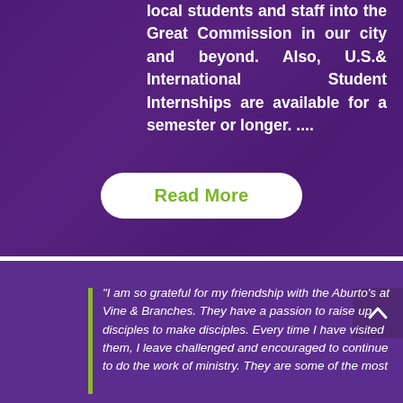local students and staff into the Great Commission in our city and beyond. Also, U.S.& International Student Internships are available for a semester or longer. ....
Read More
"I am so grateful for my friendship with the Aburto's at Vine & Branches. They have a passion to raise up disciples to make disciples. Every time I have visited them, I leave challenged and encouraged to continue to do the work of ministry. They are some of the most